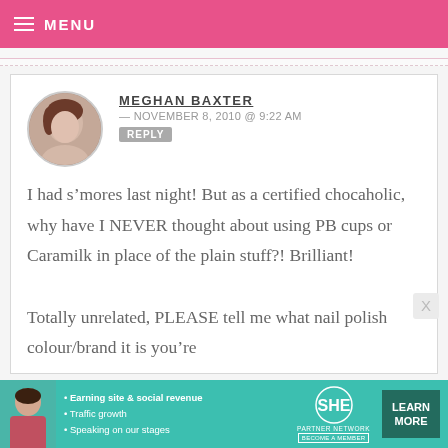MENU
MEGHAN BAXTER — NOVEMBER 8, 2010 @ 9:22 AM  REPLY
I had s’mores last night! But as a certified chocaholic, why have I NEVER thought about using PB cups or Caramilk in place of the plain stuff?! Brilliant!

Totally unrelated, PLEASE tell me what nail polish colour/brand it is you’re
[Figure (infographic): SHE Partner Network advertisement banner with woman photo, bullet points about earning site & social revenue, traffic growth, speaking on our stages, SHE logo, and Learn More button]